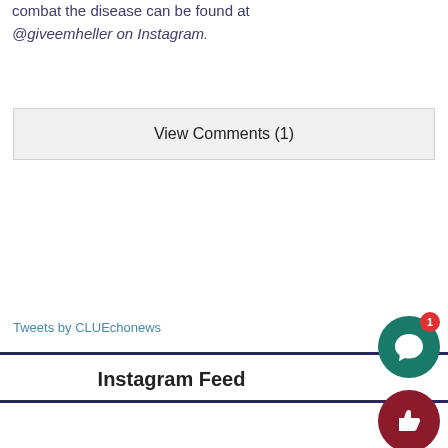combat the disease can be found at @giveemheller on Instagram.
View Comments (1)
Tweets by CLUEchonews
Instagram Feed